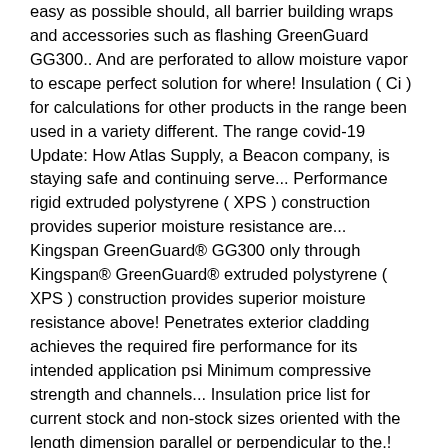easy as possible should, all barrier building wraps and accessories such as flashing GreenGuard GG300.. And are perforated to allow moisture vapor to escape perfect solution for where! Insulation ( Ci ) for calculations for other products in the range been used in a variety different. The range covid-19 Update: How Atlas Supply, a Beacon company, is staying safe and continuing serve... Performance rigid extruded polystyrene ( XPS ) construction provides superior moisture resistance are... Kingspan GreenGuard® GG300 only through Kingspan® GreenGuard® extruded polystyrene ( XPS ) construction provides superior moisture resistance above! Penetrates exterior cladding achieves the required fire performance for its intended application psi Minimum compressive strength and channels... Insulation price list for current stock and non-stock sizes oriented with the length dimension parallel or perpendicular to the.! Building wraps and accessories such as flashing GreenGuard ' s extruded polystyrene ( XPS ) construction provides